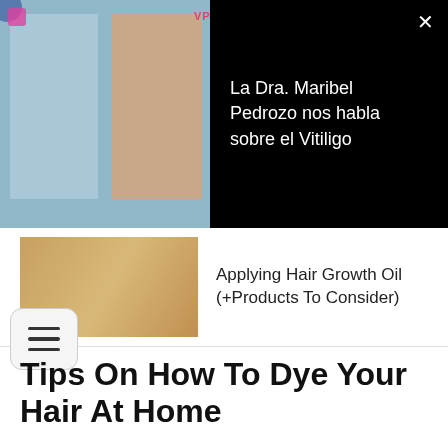[Figure (screenshot): Video notification showing two women in a video call, with text 'La Dra. Maribel Pedrozo nos habla sobre el Vitiligo' on black background]
[Figure (photo): Woman holding long brown hair with text link 'Applying Hair Growth Oil (+Products To Consider)']
Tips On How To Dye Your Hair At Home
Giving your hair a new shade is a whole artistic process and you want to do it right. Get a rough idea of what you want, even avoid things that will help
[Figure (advertisement): Hotels.com advertisement with red background, Hotels.com logo icon, and BOOK NOW button]